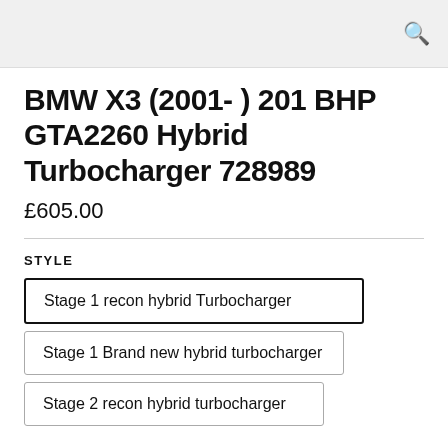BMW X3 (2001- ) 201 BHP GTA2260 Hybrid Turbocharger 728989
£605.00
STYLE
Stage 1 recon hybrid Turbocharger
Stage 1 Brand new hybrid turbocharger
Stage 2 recon hybrid turbocharger